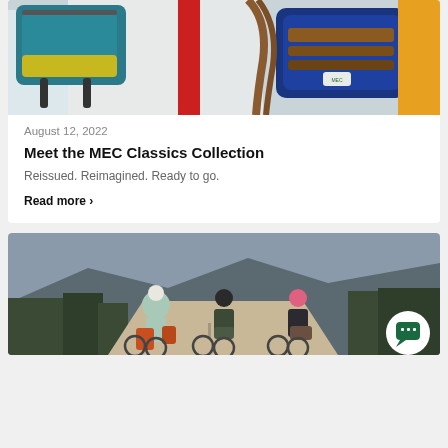[Figure (photo): Photo of colourful outdoor backpacks and a sling bag — teal/yellow bag on left, red straps in centre, navy/brown sling bag on right worn by person in yellow jacket]
August 12, 2022
Meet the MEC Classics Collection
Reissued. Reimagined. Ready to go.
Read more >
[Figure (photo): Three cyclists in helmets riding gravel bikes on a forest road, carrying bikepacking bags, mountains in background. Chat bubble icon overlaid in bottom-right corner.]